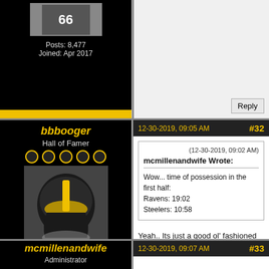Posts: 8,477
Joined: Apr 2017
Reply
bbbooger
Hall of Famer
Posts: 1,090
Joined: Dec 2017
12-30-2019, 09:05 AM #32
(12-30-2019, 09:02 AM)
mcmillenandwife Wrote:
Wow... time of possession in the first half:
Ravens: 19:02
Steelers: 10:58
Yeah.. Its just a good ol' fashioned butt whoopin' Pathetically uninspired!
Reply
mcmillenandwife
Administrator
12-30-2019, 09:07 AM #33